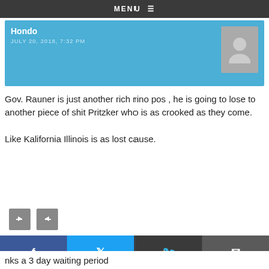MENU ☰
Hondo
JULY 20, 2018, 7:32 PM
Gov. Rauner is just another rich rino pos , he is going to lose to another piece of shit Pritzker who is as crooked as they come.
Like Kalifornia Illinois is as lost cause.
Bill ONeil
JULY 20, 2018, 4:45 PM
nks a 3 day waiting period